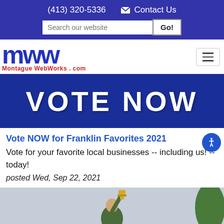(413) 320-5336   Contact Us   Search our website  Go!
[Figure (logo): Montague WebWorks logo: mww in large blue letters with 'Montague WebWorks . com' in red below]
[Figure (photo): Blue sign with white bold text reading VOTE NOW]
Vote NOW for Franklin Favorites 2021
Vote for your favorite local businesses -- including us! -- today!
posted Wed, Sep 22, 2021
[Figure (photo): Person in green shirt holding up a trophy against an overcast sky]